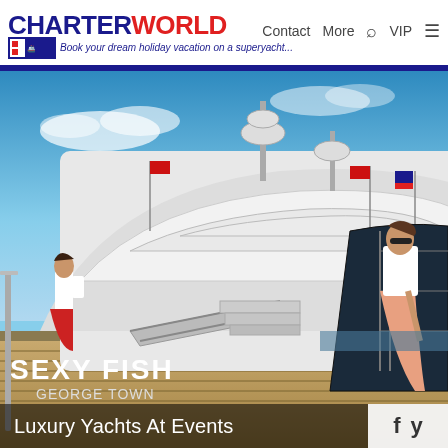CHARTERWORLD | Contact More VIP | Book your dream holiday vacation on a superyacht...
[Figure (photo): Luxury superyachts docked at a marina event. In the foreground a yacht named SEXY FISH GEORGE TOWN is visible. A woman in a white top and peach skirt stands on the right. Red flags fly from the yacht. Blue sky with light clouds above.]
Luxury Yachts At Events